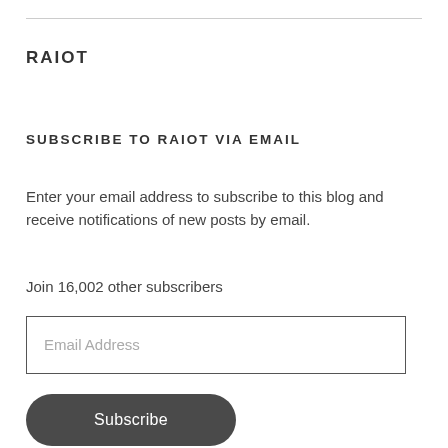RAIOT
SUBSCRIBE TO RAIOT VIA EMAIL
Enter your email address to subscribe to this blog and receive notifications of new posts by email.
Join 16,002 other subscribers